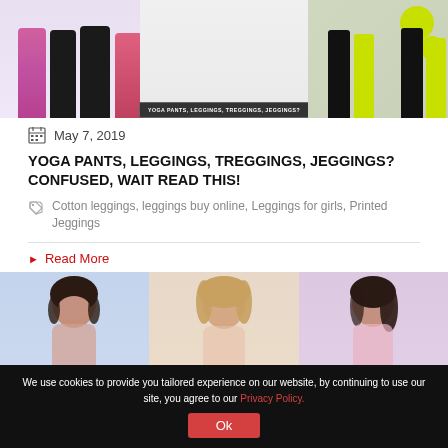[Figure (photo): Banner image showing women wearing yoga pants, leggings, treggings and jeggings with overlay text label reading 'YOGA PANTS, LEGGINGS, TREGGINGS, JEGGINGS?']
May 7, 2019
YOGA PANTS, LEGGINGS, TREGGINGS, JEGGINGS? CONFUSED, WAIT READ THIS!
Cotton leggings, leggings buy online, Leggings for girls, Printed Jeggings
Read More
[Figure (photo): Three female models wearing lingerie/tops against light gradient backgrounds]
We use cookies to provide you tailored experience on our website, by continuing to use our site, you agree to our Privacy Policy.